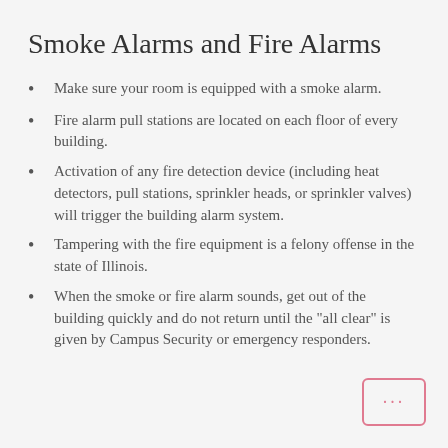Smoke Alarms and Fire Alarms
Make sure your room is equipped with a smoke alarm.
Fire alarm pull stations are located on each floor of every building.
Activation of any fire detection device (including heat detectors, pull stations, sprinkler heads, or sprinkler valves) will trigger the building alarm system.
Tampering with the fire equipment is a felony offense in the state of Illinois.
When the smoke or fire alarm sounds, get out of the building quickly and do not return until the "all clear" is given by Campus Security or emergency responders.